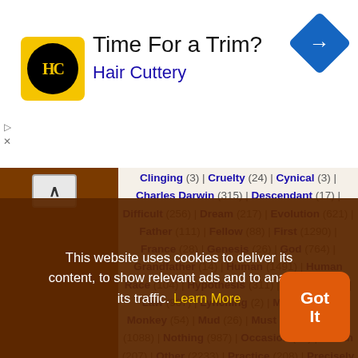[Figure (screenshot): Hair Cuttery advertisement banner with yellow/black logo, text 'Time For a Trim?' and 'Hair Cuttery' in blue, blue diamond navigation icon on right]
Clinging (3) | Cruelty (24) | Cynical (3) | Charles Darwin (315) | Descendant (17) | Difficult (256) | Dream (217) | Evolution (621) | Father (111) | Fellow (88) | First (1290) | France (28) | Genesis (26) | God (764) | Grandfather (14) | Human (1491) | Human Race (104) | Hypothesis (311) | Know (1526) | Law (907) | Lynching (2) | Man (2252) | Monkey (54) | Mud (26) | Must (1525) | Never (1088) | Nothing (987) | Occasion (85) | Ocean (207) | Other (2233) | Practice (208) | Precisely (92) | Prevention (37) | Prosecution (2) | Race (273) | Recognize (129) | Scope (44) | Side (223) | Subject (532) | Susceptibility (3) | Teacher (154) | Trial (57) | Understand (340) | Understanding (525) | Vegetarian (13) | War (229) | Why (45) | Will (335)
This website uses cookies to deliver its content, to show relevant ads and to analyze its traffic. Learn More
[Figure (screenshot): Orange 'Got It' button overlay]